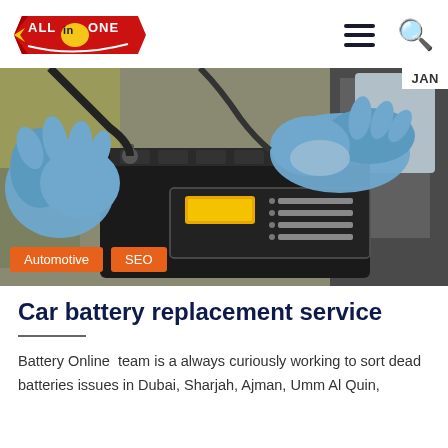All in One — navigation header with logo, hamburger menu, and search icon
[Figure (illustration): Illustration of gloved hands replacing a car battery in a vehicle engine bay. The battery has a yellow indicator display. Orange category tags 'Automotive' and 'SEO' are overlaid at the bottom left. A 'JAN' date label appears at the top right.]
Car battery replacement service
Battery Online  team is a always curiously working to sort dead batteries issues in Dubai, Sharjah, Ajman, Umm Al Quin,